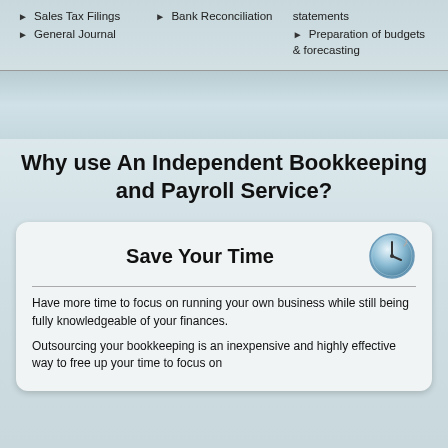▶ Sales Tax Filings
▶ General Journal
▶ Bank Reconciliation
statements
▶ Preparation of budgets & forecasting
Why use An Independent Bookkeeping and Payroll Service?
Save Your Time
Have more time to focus on running your own business while still being fully knowledgeable of your finances.
Outsourcing your bookkeeping is an inexpensive and highly effective way to free up your time to focus on